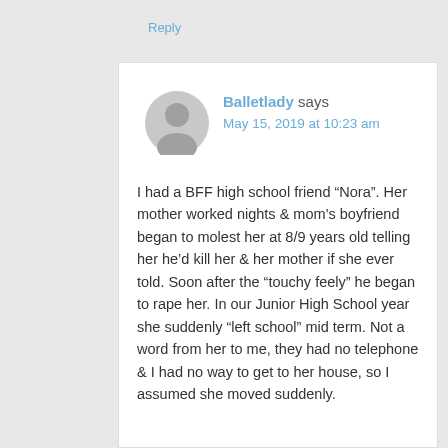Reply
[Figure (illustration): Gray circular avatar/profile picture placeholder icon]
Balletlady says
May 15, 2019 at 10:23 am
I had a BFF high school friend “Nora”. Her mother worked nights & mom’s boyfriend began to molest her at 8/9 years old telling her he’d kill her & her mother if she ever told. Soon after the “touchy feely” he began to rape her. In our Junior High School year she suddenly “left school” mid term. Not a word from her to me, they had no telephone & I had no way to get to her house, so I assumed she moved suddenly.